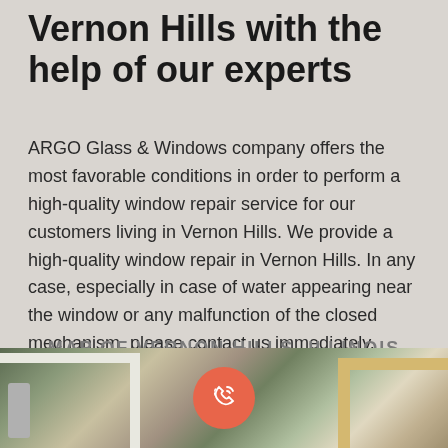Vernon Hills with the help of our experts
ARGO Glass & Windows company offers the most favorable conditions in order to perform a high-quality window repair service for our customers living in Vernon Hills. We provide a high-quality window repair in Vernon Hills. In any case, especially in case of water appearing near the window or any malfunction of the closed mechanism, please contact us immediately.
MAP OF VERNON HILLS, ILLINOIS
[Figure (photo): Photo of window frames and repair materials outdoors with greenery in background]